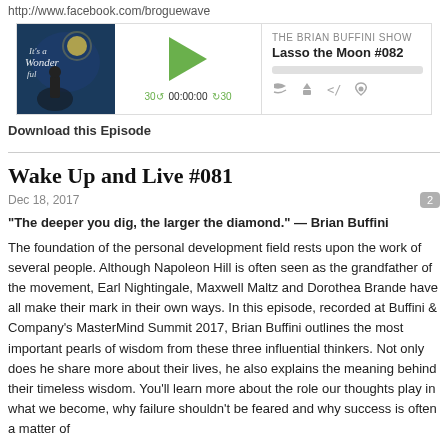http://www.facebook.com/broguewave
[Figure (screenshot): Podcast player widget for 'The Brian Buffini Show - Lasso the Moon #082' with thumbnail image, play button, progress bar, and playback controls showing 00:00:00]
Download this Episode
Wake Up and Live #081
Dec 18, 2017
“The deeper you dig, the larger the diamond.” — Brian Buffini
The foundation of the personal development field rests upon the work of several people. Although Napoleon Hill is often seen as the grandfather of the movement, Earl Nightingale, Maxwell Maltz and Dorothea Brande have all make their mark in their own ways. In this episode, recorded at Buffini & Company’s MasterMind Summit 2017, Brian Buffini outlines the most important pearls of wisdom from these three influential thinkers. Not only does he share more about their lives, he also explains the meaning behind their timeless wisdom. You’ll learn more about the role our thoughts play in what we become, why failure shouldn’t be feared and why success is often a matter of